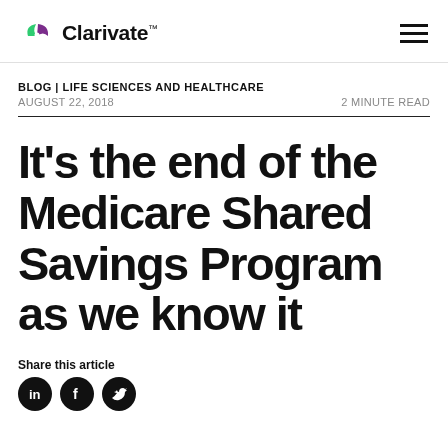Clarivate
BLOG | LIFE SCIENCES AND HEALTHCARE
AUGUST 22, 2018    2 MINUTE READ
It’s the end of the Medicare Shared Savings Program as we know it
Share this article